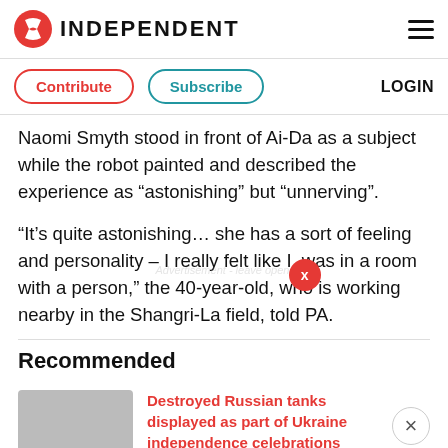INDEPENDENT
Contribute   Subscribe   LOGIN
Naomi Smyth stood in front of Ai-Da as a subject while the robot painted and described the experience as “astonishing” but “unnerving”.
“It’s quite astonishing… she has a sort of feeling and personality – I really felt like I was in a room with a person,” the 40-year-old, who is working nearby in the Shangri-La field, told PA.
Recommended
Destroyed Russian tanks displayed as part of Ukraine independence celebrations